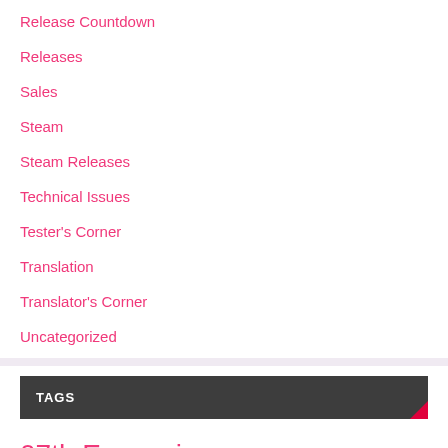Release Countdown
Releases
Sales
Steam
Steam Releases
Technical Issues
Tester's Corner
Translation
Translator's Corner
Uncategorized
TAGS
07th Expansion a kiss for the petals alicesoft Ammolite Anime Expo Appetite BL Circus clockup Da